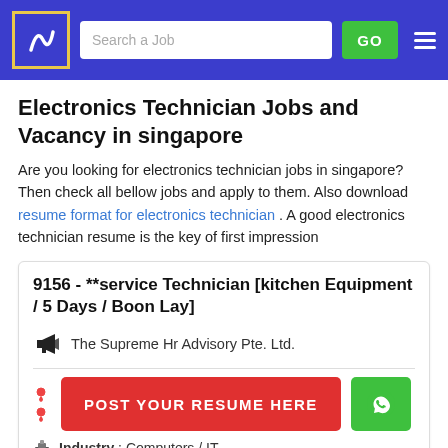Search a Job | GO
Electronics Technician Jobs and Vacancy in singapore
Are you looking for electronics technician jobs in singapore? Then check all bellow jobs and apply to them. Also download resume format for electronics technician . A good electronics technician resume is the key of first impression
9156 - **service Technician [kitchen Equipment / 5 Days / Boon Lay]
The Supreme Hr Advisory Pte. Ltd.
POST YOUR RESUME HERE
Industry : Computers / IT